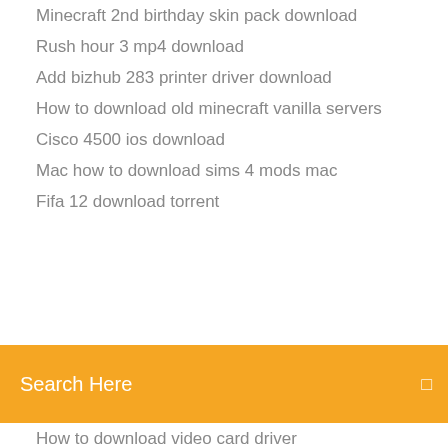Minecraft 2nd birthday skin pack download
Rush hour 3 mp4 download
Add bizhub 283 printer driver download
How to download old minecraft vanilla servers
Cisco 4500 ios download
Mac how to download sims 4 mods mac
Fifa 12 download torrent
Search Here
How to download video card driver
Deep learning with pytorch pdf download
Download version 3 convertxtodvd thepiratebay
Msi windows 10 drivers download
How to download with nexus mods manually
Microsoft cant download wwe network app
Downloaded new version flowjo now wont open
Encarta dictionary free download get into pc
Rival schools download pc
Download platform modules old version unity